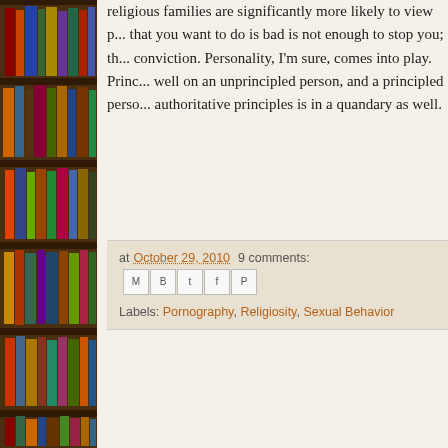[Figure (photo): Photograph of a bookshelf with colorful book spines, occupying the left side of the page.]
religious families are significantly more likely to view p... that you want to do is bad is not enough to stop you; th... conviction. Personality, I'm sure, comes into play. Princ... well on an unprincipled person, and a principled perso... authoritative principles is in a quandary as well.
at October 29, 2010   9 comments:
Labels: Pornography, Religiosity, Sexual Behavior